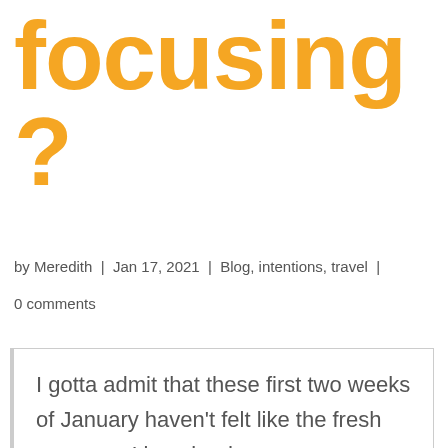focusing ?
by Meredith  |  Jan 17, 2021  |  Blog, intentions, travel  |
0 comments
I gotta admit that these first two weeks of January haven't felt like the fresh new year I imagined.